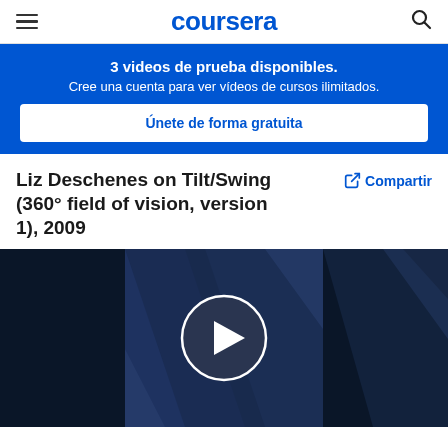coursera
3 videos de prueba disponibles. Cree una cuenta para ver vídeos de cursos ilimitados.
Únete de forma gratuita
Liz Deschenes on Tilt/Swing (360° field of vision, version 1), 2009
Compartir
[Figure (screenshot): Video thumbnail with dark navy background and white play button circle in center]